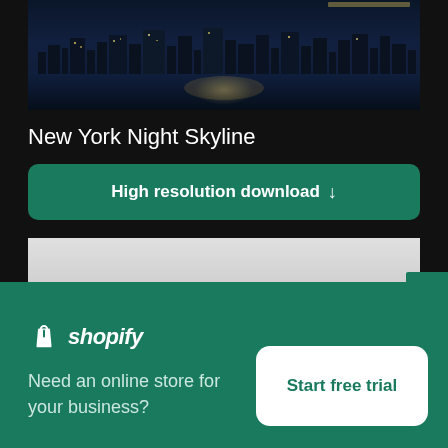[Figure (photo): New York night skyline photo showing city buildings reflected in water with dark blue night sky]
New York Night Skyline
High resolution download ↓
[Figure (photo): Partially visible second image with light gray/white background]
[Figure (logo): Shopify logo with shopping bag icon and italic wordmark]
Need an online store for your business?
Start free trial